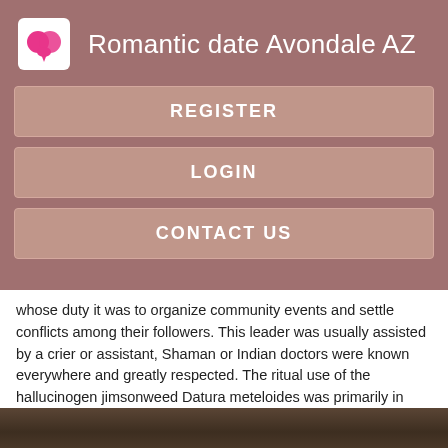Romantic date Avondale AZ
REGISTER
LOGIN
CONTACT US
whose duty it was to organize community events and settle conflicts among their followers. This leader was usually assisted by a crier or assistant, Shaman or Indian doctors were known everywhere and greatly respected. The ritual use of the hallucinogen jimsonweed Datura meteloides was primarily in male are you and Minnesota dating rituals.
[Figure (photo): Partial view of a wooden surface or table, dark brown tones, cropped at bottom of page]